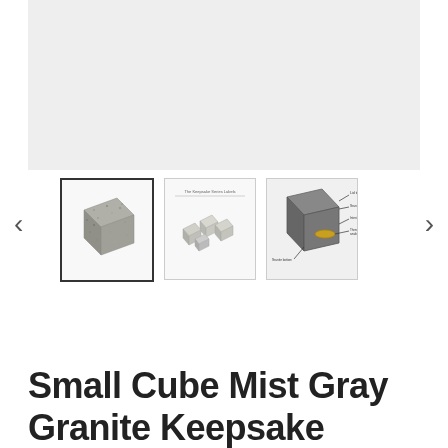[Figure (photo): Main product image area showing gray background placeholder for a Small Cube Mist Gray Granite Keepsake product]
[Figure (photo): Thumbnail 1 (selected/highlighted): Photo of a small gray granite cube on white background]
[Figure (photo): Thumbnail 2: Photo showing multiple small white/gray cube keepsakes in a group]
[Figure (schematic): Thumbnail 3: Diagram/cutaway illustration showing the interior construction of a granite keepsake cube with labeled parts]
<
>
Small Cube Mist Gray Granite Keepsake